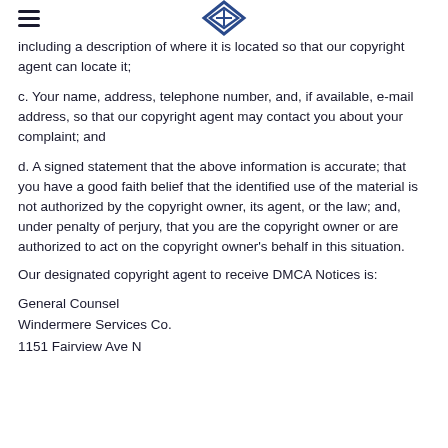[hamburger menu] [Windermere logo]
including a description of where it is located so that our copyright agent can locate it;
c. Your name, address, telephone number, and, if available, e-mail address, so that our copyright agent may contact you about your complaint; and
d. A signed statement that the above information is accurate; that you have a good faith belief that the identified use of the material is not authorized by the copyright owner, its agent, or the law; and, under penalty of perjury, that you are the copyright owner or are authorized to act on the copyright owner's behalf in this situation.
Our designated copyright agent to receive DMCA Notices is:
General Counsel
Windermere Services Co.
1151 Fairview Ave N